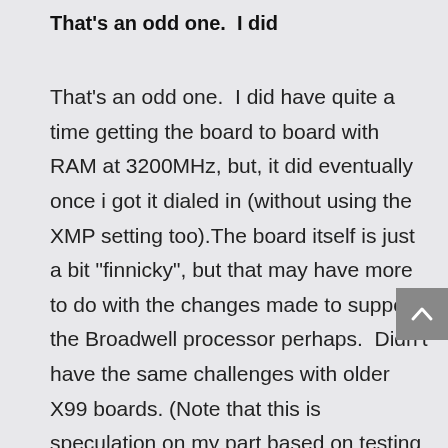That's an odd one.  I did
That's an odd one.  I did have quite a time getting the board to board with RAM at 3200MHz, but, it did eventually once i got it dialed in (without using the XMP setting too).The board itself is just a bit "finnicky", but that may have more to do with the changes made to support the Broadwell processor perhaps.  Didn't have the same challenges with older X99 boards. (Note that this is speculation on my part based on testing experiences,